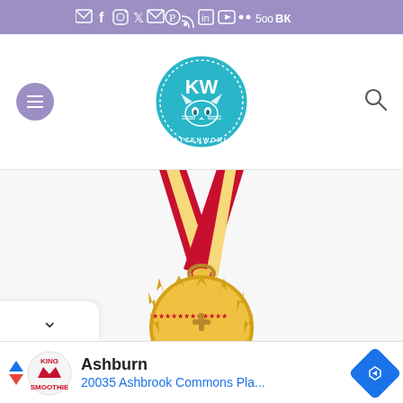Social media icon bar with email, Facebook, Instagram, Twitter, email, Pinterest, RSS, LinkedIn, YouTube, and other social icons
[Figure (logo): KatzenWelt website logo — circular badge with cat face illustration and 'KW' text, teal/blue color scheme]
[Figure (illustration): Gold medal with red and gold ribbon at the top, on a light grey background, partially cropped at bottom]
[Figure (other): Advertisement banner: Smoothie King logo, 'Ashburn' heading, '20035 Ashbrook Commons Pla...' subtitle, blue navigation diamond icon on right, triangle play arrows on left]